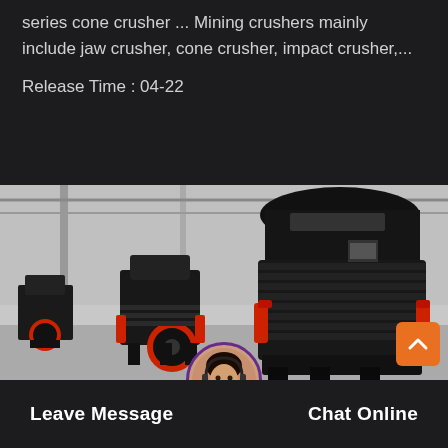series cone crusher ... Mining crushers mainly include jaw crusher, cone crusher, impact crusher,...
Release Time : 04-22
[Figure (photo): Multiple large black industrial cone crushers lined up in a factory/warehouse setting, with red accents on flywheels and hydraulic cylinders. Steel structure building visible in background.]
Leave Message
Chat Online